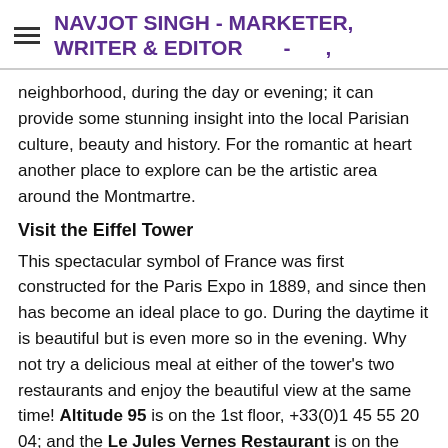NAVJOT SINGH - MARKETER, WRITER & EDITOR -  ,
neighborhood, during the day or evening; it can provide some stunning insight into the local Parisian culture, beauty and history. For the romantic at heart another place to explore can be the artistic area around the Montmartre.
Visit the Eiffel Tower
This spectacular symbol of France was first constructed for the Paris Expo in 1889, and since then has become an ideal place to go. During the daytime it is beautiful but is even more so in the evening. Why not try a delicious meal at either of the tower's two restaurants and enjoy the beautiful view at the same time! Altitude 95 is on the 1st floor, +33(0)1 45 55 20 04; and the Le Jules Vernes Restaurant is on the 2nd floor, +33 (0)1 45 55 61 44. It is highly recommended to reserve at least a few days in advance as it's something of an accomplishment to get a